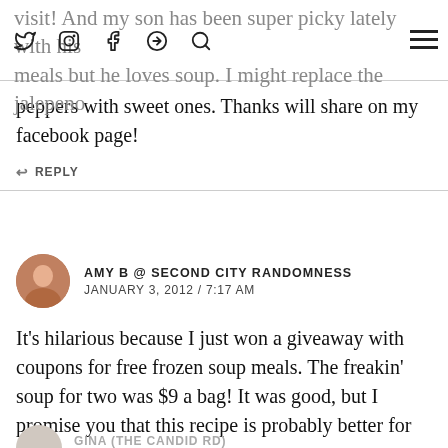visit! And my son has been super picky lately with his meals but he loves soup. I might replace the jalepeno
peppers with sweet ones. Thanks will share on my facebook page!
↩ REPLY
AMY B @ SECOND CITY RANDOMNESS
JANUARY 3, 2012 / 7:17 AM
It’s hilarious because I just won a giveaway with coupons for free frozen soup meals. The freakin’ soup for two was $9 a bag! It was good, but I promise you that this recipe is probably better for ya…
↩ REPLY
GINA (THE CANDID RD)
JANUARY 3, 2012 / 8:25 AM